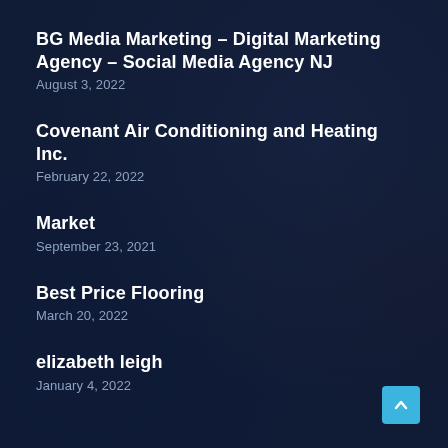BG Media Marketing – Digital Marketing Agency – Social Media Agency NJ
August 3, 2022
Covenant Air Conditioning and Heating Inc.
February 22, 2022
Market
September 23, 2021
Best Price Flooring
March 20, 2022
elizabeth leigh
January 4, 2022